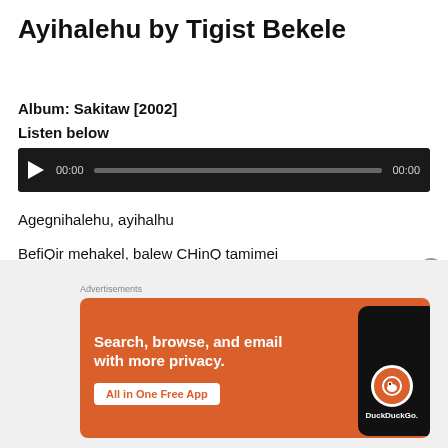Ayihalehu by Tigist Bekele
Album: Sakitaw [2002]
Listen below
[Figure (other): Audio player widget with play button, progress bar showing 00:00 on both sides, dark background]
Agegnihalehu, ayihalhu
BefiQir mehakel, balew CHinQ tamimei
Sibazin, sibazin, alehu enei
Agegnihalehu, ayihalhu
[Figure (other): DuckDuckGo advertisement banner: orange background with text 'Search, browse, and email with more privacy. All in One Free App' and DuckDuckGo logo with phone graphic]